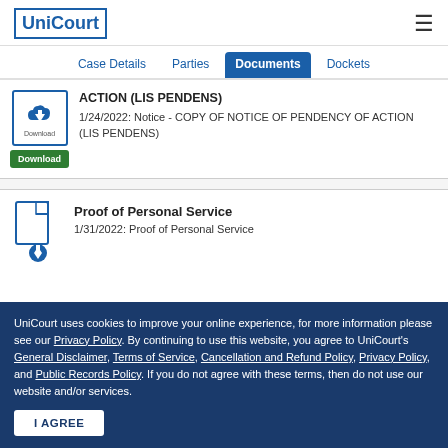UniCourt
Case Details | Parties | Documents | Dockets
ACTION (LIS PENDENS)
1/24/2022: Notice - COPY OF NOTICE OF PENDENCY OF ACTION (LIS PENDENS)
Proof of Personal Service
1/31/2022: Proof of Personal Service
UniCourt uses cookies to improve your online experience, for more information please see our Privacy Policy. By continuing to use this website, you agree to UniCourt's General Disclaimer, Terms of Service, Cancellation and Refund Policy, Privacy Policy, and Public Records Policy. If you do not agree with these terms, then do not use our website and/or services.